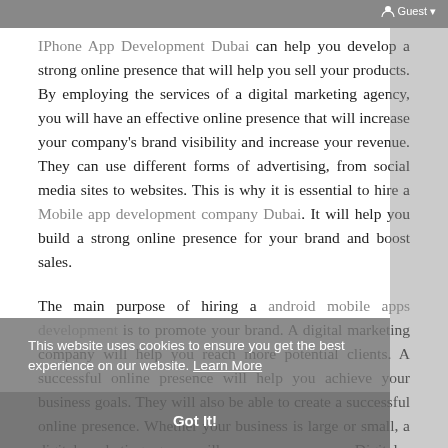Guest
IPhone App Development Dubai can help you develop a strong online presence that will help you sell your products. By employing the services of a digital marketing agency, you will have an effective online presence that will increase your company's brand visibility and increase your revenue. They can use different forms of advertising, from social media sites to websites. This is why it is essential to hire a Mobile app development company Dubai. It will help you build a strong online presence for your brand and boost sales.
The main purpose of hiring a android mobile apps development is to promote your brand. A digital marketing company will help you reach more potential clients. A successful online presence will help you achieve your business goals. They will also be able to create a successful online presence. Whether your business is large or small, a digital marketing agency will ensure your success. Digital
This website uses cookies to ensure you get the best experience on our website. Learn More
Got It!